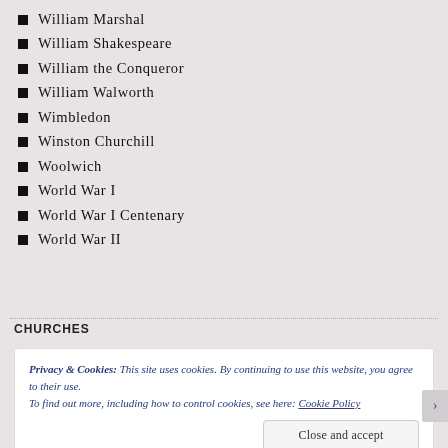William Marshal
William Shakespeare
William the Conqueror
William Walworth
Wimbledon
Winston Churchill
Woolwich
World War I
World War I Centenary
World War II
CHURCHES
Privacy & Cookies: This site uses cookies. By continuing to use this website, you agree to their use.
To find out more, including how to control cookies, see here: Cookie Policy